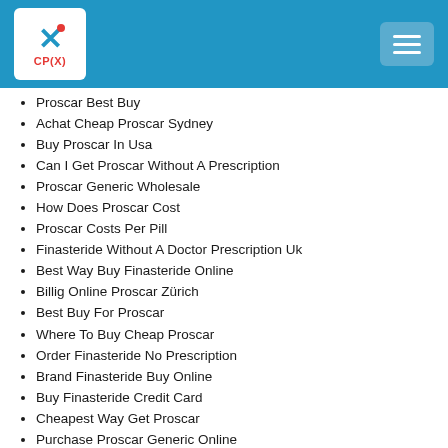CP(X) logo with hamburger menu
Proscar Best Buy
Achat Cheap Proscar Sydney
Buy Proscar In Usa
Can I Get Proscar Without A Prescription
Proscar Generic Wholesale
How Does Proscar Cost
Proscar Costs Per Pill
Finasteride Without A Doctor Prescription Uk
Best Way Buy Finasteride Online
Billig Online Proscar Zürich
Best Buy For Proscar
Where To Buy Cheap Proscar
Order Finasteride No Prescription
Brand Finasteride Buy Online
Buy Finasteride Credit Card
Cheapest Way Get Proscar
Purchase Proscar Generic Online
Discount Finasteride Online Canada
Buy Proscar Canadian Pharmacy
Where To Purchase Generic Proscar Norway
How Much Does Proscar Cost
Proscar Original For Sale Online
Where To Order Proscar Pills Online
Safest Place To Buy Finasteride Online